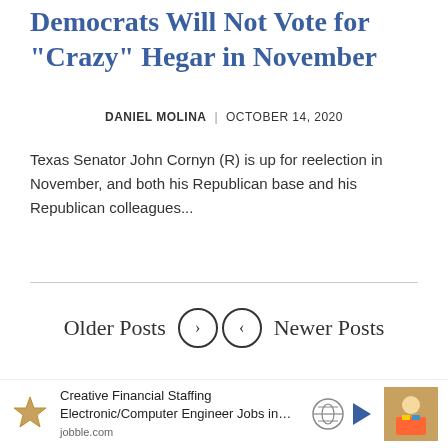Democrats Will Not Vote for “Crazy” Hegar in November
DANIEL MOLINA | OCTOBER 14, 2020
Texas Senator John Cornyn (R) is up for reelection in November, and both his Republican base and his Republican colleagues...
Older Posts Newer Posts
Creative Financial Staffing Electronic/Computer Engineer Jobs in... jobble.com